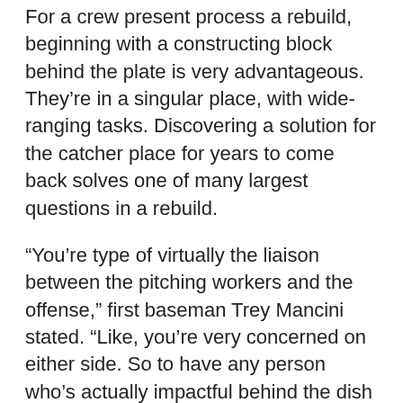For a crew present process a rebuild, beginning with a constructing block behind the plate is very advantageous. They're in a singular place, with wide-ranging tasks. Discovering a solution for the catcher place for years to come back solves one of many largest questions in a rebuild.
“You’re type of virtually the liaison between the pitching workers and the offense,” first baseman Trey Mancini stated. “Like, you’re very concerned on either side. So to have any person who’s actually impactful behind the dish and might swing the bat very well, yeah, I believe that’s onerous to come back by, particularly in right now’s recreation.”
As Lyles stated, gamers of Posey’s ilk — a 2012 Nationwide League Most Precious Participant, seven-time All-Star and three-time World Collection champion — are few and much between. Earlier than Rutschman